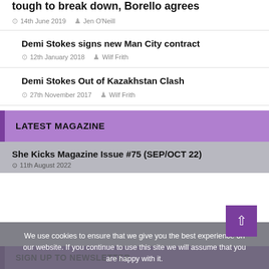tough to break down, Borello agrees
14th June 2019   Jen O'Neill
Demi Stokes signs new Man City contract
12th January 2018   Wilf Frith
Demi Stokes Out of Kazakhstan Clash
27th November 2017   Wilf Frith
LATEST MAGAZINE
She Kicks Magazine Issue #75 (SEP/OCT 22)
11th August 2022
We use cookies to ensure that we give you the best experience on our website. If you continue to use this site we will assume that you are happy with it.
SIGN UP TO NEWSLETTER